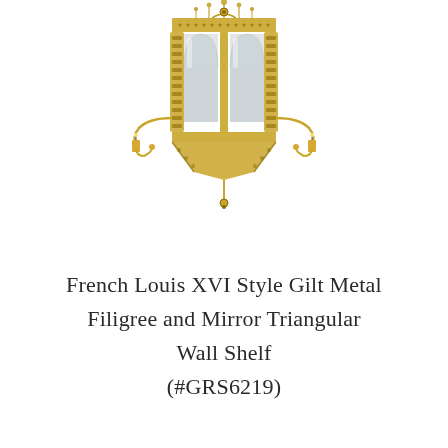[Figure (photo): A French Louis XVI style gilt metal filigree and mirror triangular wall shelf with ornate Gothic-style arched mirrored panels, intricate metal filigree decorative work, and candle arm sconces extending from the sides. The piece is photographed against a white background.]
French Louis XVI Style Gilt Metal Filigree and Mirror Triangular Wall Shelf (#GRS6219)